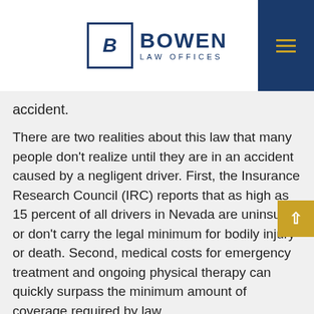BOWEN LAW OFFICES
accident.
There are two realities about this law that many people don't realize until they are in an accident caused by a negligent driver. First, the Insurance Research Council (IRC) reports that as high as 15 percent of all drivers in Nevada are uninsured or don't carry the legal minimum for bodily injury or death. Second, medical costs for emergency treatment and ongoing physical therapy can quickly surpass the minimum amount of coverage required by law.
How Do You Get Compensation For Your Injuries When There Is No